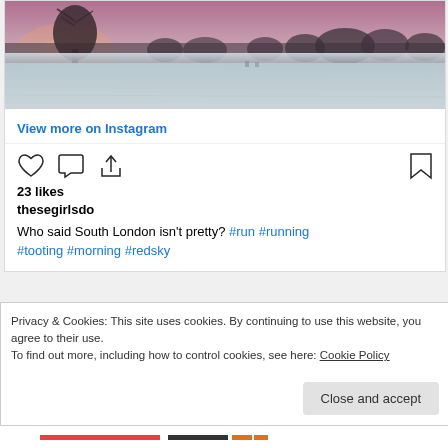[Figure (photo): A misty winter park scene at dawn/dusk with bare trees silhouetted against a pink-purple sky and a frost-covered open field in the foreground.]
View more on Instagram
[Figure (other): Instagram action icons: heart (like), speech bubble (comment), share arrow, and bookmark]
23 likes
thesegirlsdo
Who said South London isn't pretty? #run #running #tooting #morning #redsky
Privacy & Cookies: This site uses cookies. By continuing to use this website, you agree to their use.
To find out more, including how to control cookies, see here: Cookie Policy
Close and accept